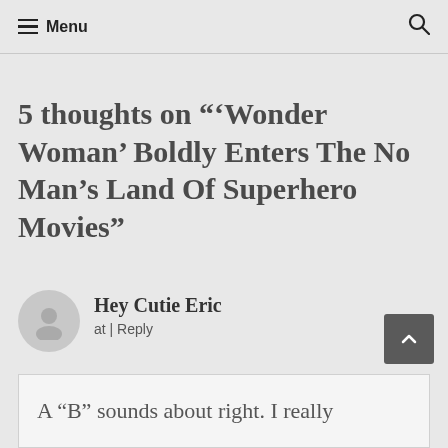Menu
5 thoughts on “‘Wonder Woman’ Boldly Enters The No Man’s Land Of Superhero Movies”
Hey Cutie Eric
at | Reply
A “B” sounds about right. I really